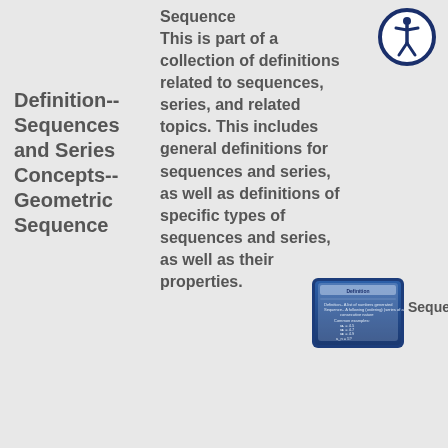Definition-- Sequences and Series Concepts-- Geometric Sequence
Sequence
This is part of a collection of definitions related to sequences, series, and related topics. This includes general definitions for sequences and series, as well as definitions of specific types of sequences and series, as well as their properties.
[Figure (screenshot): Thumbnail image of a slide titled Definition about sequences]
Sequences
[Figure (logo): Accessibility icon — person in circle with dark blue border]